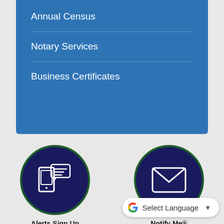Annual Census
Notary Services
Business Certificates
[Figure (infographic): Dark navy blue circular icon with white mobile phone and speech bubble notification graphic, labeled Alerts Sign Up]
Alerts Sign Up
[Figure (infographic): Dark navy blue circular icon with white envelope/mail graphic, labeled Notify Me®]
Notify Me®
[Figure (infographic): Dark navy blue circular icon with white speech bubbles graphic, labeled Report An Issue]
Report An Issue
[Figure (infographic): Dark navy blue circular icon with white credit card graphic, partially visible, labeled Online (truncated)]
On...
[Figure (screenshot): Google Translate Select Language widget with dropdown arrow]